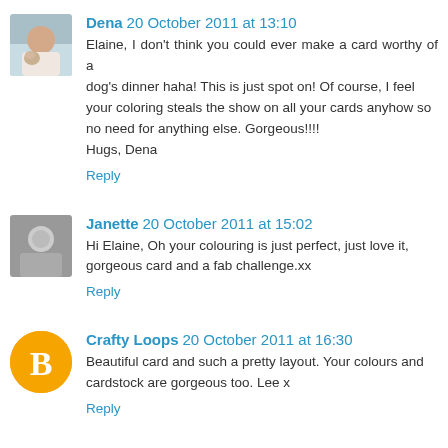[Figure (photo): Avatar photo of Dena, showing a person with a dog]
Dena 20 October 2011 at 13:10
Elaine, I don't think you could ever make a card worthy of a dog's dinner haha! This is just spot on! Of course, I feel your coloring steals the show on all your cards anyhow so no need for anything else. Gorgeous!!!!
Hugs, Dena
Reply
[Figure (photo): Avatar photo of Janette, grayscale portrait]
Janette 20 October 2011 at 15:02
Hi Elaine, Oh your colouring is just perfect, just love it, gorgeous card and a fab challenge.xx
Reply
[Figure (logo): Blogger 'B' logo icon in orange circle for Crafty Loops]
Crafty Loops 20 October 2011 at 16:30
Beautiful card and such a pretty layout. Your colours and cardstock are gorgeous too. Lee x
Reply